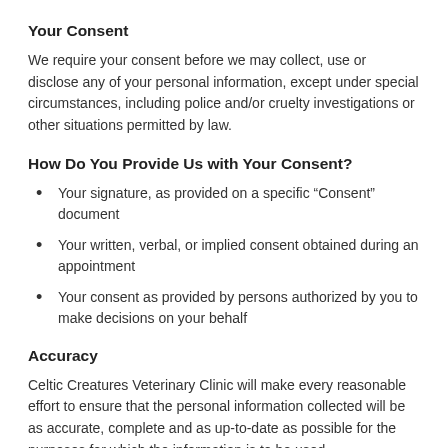Your Consent
We require your consent before we may collect, use or disclose any of your personal information, except under special circumstances, including police and/or cruelty investigations or other situations permitted by law.
How Do You Provide Us with Your Consent?
Your signature, as provided on a specific “Consent” document
Your written, verbal, or implied consent obtained during an appointment
Your consent as provided by persons authorized by you to make decisions on your behalf
Accuracy
Celtic Creatures Veterinary Clinic will make every reasonable effort to ensure that the personal information collected will be as accurate, complete and as up-to-date as possible for the purposes for which the information is to be used.
Safeguards